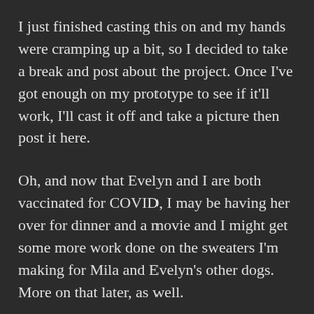I just finished casting this on and my hands were cramping up a bit, so I decided to take a break and post about the project. Once I've got enough on my prototype to see if it'll work, I'll cast it off and take a picture then post it here.
Oh, and now that Evelyn and I are both vaccinated for COVID, I may be having her over for dinner and a movie and I might get some more work done on the sweaters I'm making for Mila and Evelyn's other dogs. More on that later, as well.
And, since I'm posting this on my desktop computer, time for another Gratuitous Amazon